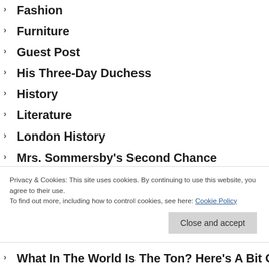Fashion
Furniture
Guest Post
His Three-Day Duchess
History
Literature
London History
Mrs. Sommersby's Second Chance
Notable Personalities
One Week to Wed
Uncategorized
Privacy & Cookies: This site uses cookies. By continuing to use this website, you agree to their use. To find out more, including how to control cookies, see here: Cookie Policy
What In The World Is The Ton? Here's A Bit Of